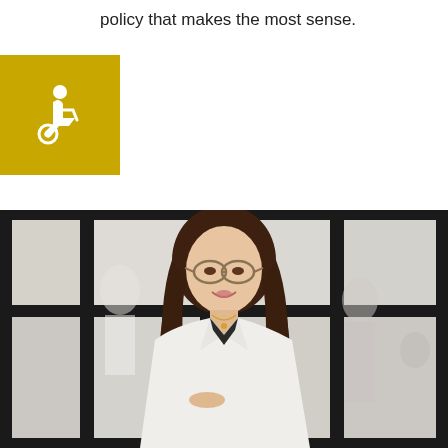policy that makes the most sense.
[Figure (illustration): Gold/yellow square icon with white wheelchair accessibility symbol]
[Figure (photo): Professional woman with long brown hair, glasses, white blazer, arms crossed, smiling, standing in an office environment with large windows and people in the background]